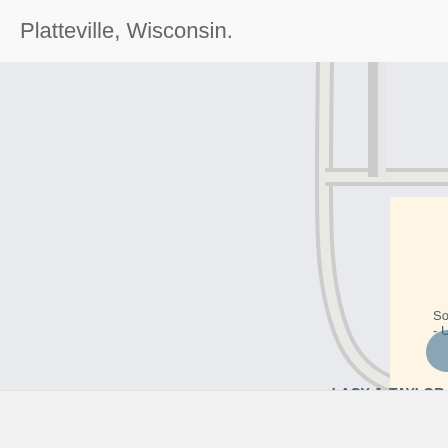Platteville, Wisconsin.
[Figure (map): Google Maps view showing Southwest Health - Urgent Care & location and LACY J. TAYLOR, MA, LPC, ATR location in Platteville, Wisconsin. A bus stop icon is visible. Partial label for Reh Sou visible on right edge.]